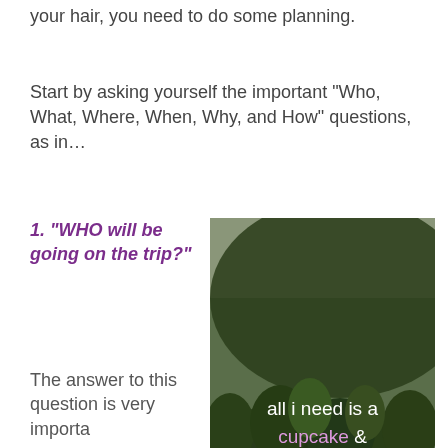your hair, you need to do some planning.
Start by asking yourself the important “Who, What, Where, When, Why, and How” questions, as in…
1. “WHO will be going on the trip?”
[Figure (photo): Photo of a forested mountain hillside with text overlay reading 'all i need is a cupcake & a roadtrip.']
The answer to this question is very importa